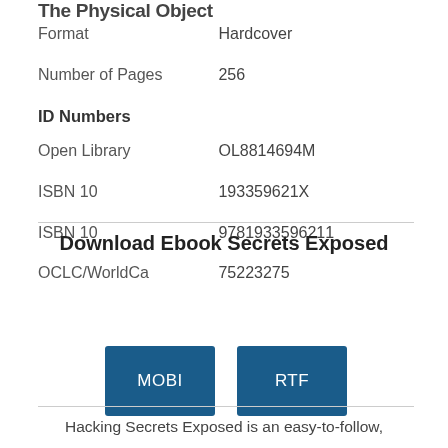The Physical Object
| Format | Hardcover |
| Number of Pages | 256 |
| ID Numbers |  |
| Open Library | OL8814694M |
| ISBN 10 | 193359621X |
| ISBN 10 | 9781933596211 |
| OCLC/WorldCa | 75223275 |
Download Ebook Secrets Exposed
[Figure (infographic): Five download format buttons: PDF, EPUB, FB2 in first row; MOBI, RTF in second row. All buttons are dark blue with white text.]
Hacking Secrets Exposed is an easy-to-follow,